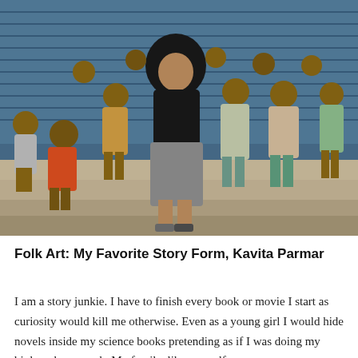[Figure (photo): A woman with long curly dark hair wearing a black top and grey skirt sits on outdoor steps surrounded by a group of children in rural India. A blue corrugated metal shutter is visible in the background.]
Folk Art: My Favorite Story Form, Kavita Parmar
I am a story junkie. I have to finish every book or movie I start as curiosity would kill me otherwise. Even as a young girl I would hide novels inside my science books pretending as if I was doing my biology homework. My family, like any self-